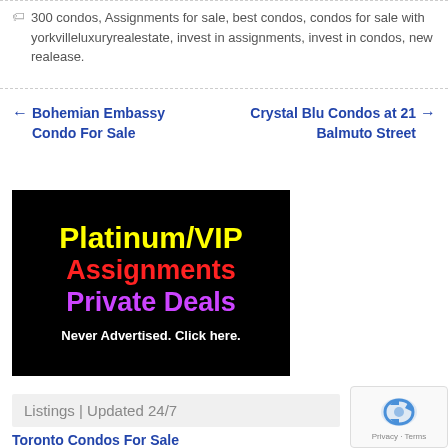300 condos, Assignments for sale, best condos, condos for sale with yorkvilleluxuryrealestate, invest in assignments, invest in condos, new realease.
← Bohemian Embassy Condo For Sale
Crystal Blu Condos at 21 Balmuto Street →
[Figure (infographic): Black background advertisement banner with yellow bold text 'Platinum/VIP', red bold text 'Assignments', purple bold text 'Private Deals', and white bold text 'Never Advertised. Click here.']
Listings | Updated 24/7
Toronto Condos For Sale